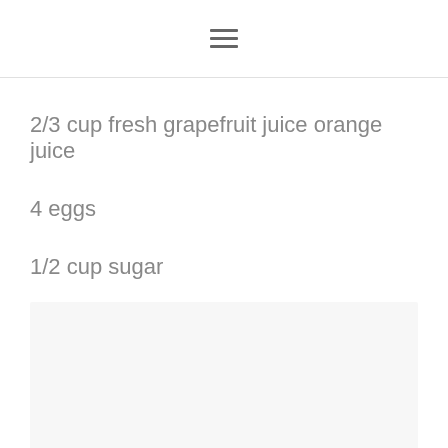☰
2/3 cup fresh grapefruit juice orange juice
4 eggs
1/2 cup sugar
[Figure (photo): Light gray placeholder image box]